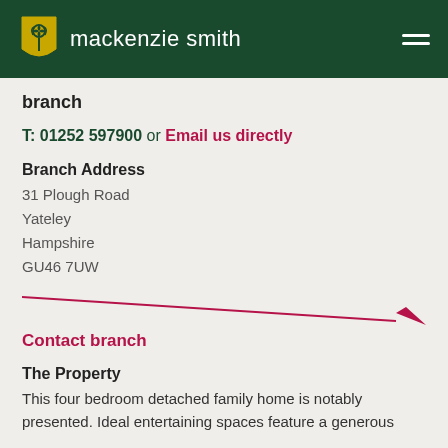mackenzie smith
branch
T: 01252 597900 or Email us directly
Branch Address
31 Plough Road
Yateley
Hampshire
GU46 7UW
Contact branch
The Property
This four bedroom detached family home is notably presented. Ideal entertaining spaces feature a generous